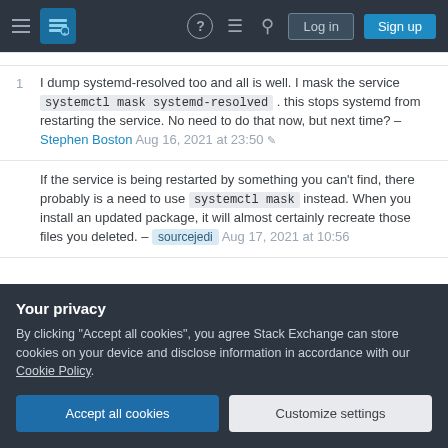Stack Exchange navigation bar with hamburger menu, logo, help, chat, search, Log in, Sign up buttons
1 I dump systemd-resolved too and all is well. I mask the service systemctl mask systemd-resolved . this stops systemd from restarting the service. No need to do that now, but next time? – Stephen Boston Aug 16, 2021 at 23:50
If the service is being restarted by something you can't find, there probably is a need to use systemctl mask instead. When you install an updated package, it will almost certainly recreate those files you deleted. – sourcejedi Aug 17, 2021 at 10:56
Your privacy
By clicking "Accept all cookies", you agree Stack Exchange can store cookies on your device and disclose information in accordance with our Cookie Policy.
Accept all cookies | Customize settings